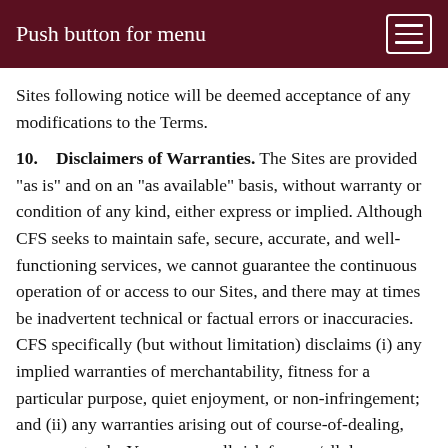Push button for menu
Sites following notice will be deemed acceptance of any modifications to the Terms.
10. Disclaimers of Warranties. The Sites are provided "as is" and on an "as available" basis, without warranty or condition of any kind, either express or implied. Although CFS seeks to maintain safe, secure, accurate, and well-functioning services, we cannot guarantee the continuous operation of or access to our Sites, and there may at times be inadvertent technical or factual errors or inaccuracies. CFS specifically (but without limitation) disclaims (i) any implied warranties of merchantability, fitness for a particular purpose, quiet enjoyment, or non-infringement; and (ii) any warranties arising out of course-of-dealing, usage, or trade. You assume all risk for any/all damages that may result from your use of or access to the Sites. CFS does not guarantee the accuracy of, and disclaims all liability for, any errors or other inaccuracies in the information, content, recommendations, and materials made